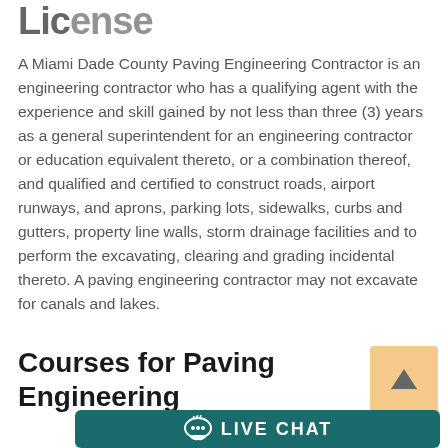License
A Miami Dade County Paving Engineering Contractor is an engineering contractor who has a qualifying agent with the experience and skill gained by not less than three (3) years as a general superintendent for an engineering contractor or education equivalent thereto, or a combination thereof, and qualified and certified to construct roads, airport runways, and aprons, parking lots, sidewalks, curbs and gutters, property line walls, storm drainage facilities and to perform the excavating, clearing and grading incidental thereto. A paving engineering contractor may not excavate for canals and lakes.
Courses for Paving Engineering
[Figure (other): Orange/tan square button with an upward arrow icon (scroll to top button)]
[Figure (other): Teal/dark green LIVE CHAT button bar with chat bubble icon and white text reading LIVE CHAT]